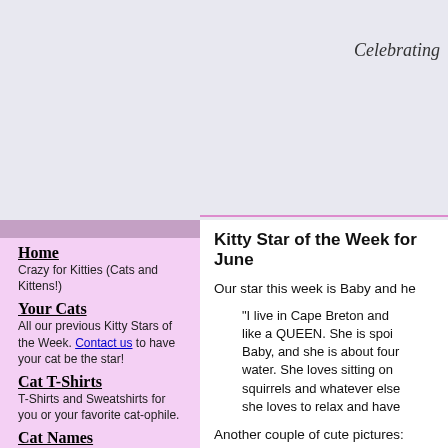Celebrating
Home
Crazy for Kitties (Cats and Kittens!)
Your Cats
All our previous Kitty Stars of the Week. Contact us to have your cat be the star!
Cat T-Shirts
T-Shirts and Sweatshirts for you or your favorite cat-ophile.
Cat Names
Need a suggestion? Vote for your favorite name!
Contact Us
Drop us an email
Crazy Cat Stories
Kitty Star of the Week for June
Our star this week is Baby and he
"I live in Cape Breton and like a QUEEN. She is spoi Baby, and she is about four water. She loves sitting on squirrels and whatever else she loves to relax and have
Another couple of cute pictures:
Baby and